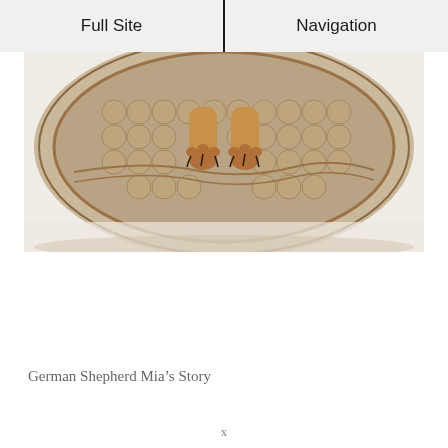Full Site | Navigation
[Figure (photo): Close-up photo of a dog (German Shepherd) paws standing on a round patterned rug or mat with circular/hexagonal designs in beige and brown tones. The paws are golden/tan colored with dark nails visible. The rug sits on a white/light floor.]
German Shepherd Mia’s Story